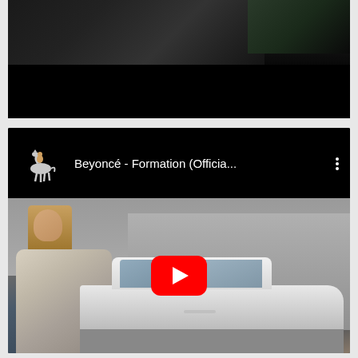[Figure (screenshot): Top portion of a dark video showing a figure in a dark jacket against a black background, partially cropped]
[Figure (screenshot): YouTube video embed showing 'Beyoncé - Formation (Officia...' with a horse-and-rider thumbnail icon in the video header on black background, and a video frame below showing a woman with long hair standing next to a vintage white car with a red YouTube play button overlay]